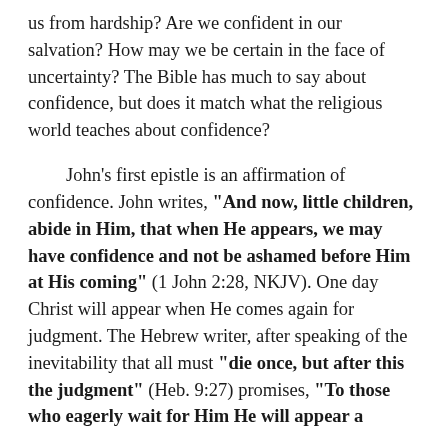us from hardship? Are we confident in our salvation? How may we be certain in the face of uncertainty? The Bible has much to say about confidence, but does it match what the religious world teaches about confidence?
John's first epistle is an affirmation of confidence. John writes, "And now, little children, abide in Him, that when He appears, we may have confidence and not be ashamed before Him at His coming" (1 John 2:28, NKJV). One day Christ will appear when He comes again for judgment. The Hebrew writer, after speaking of the inevitability that all must "die once, but after this the judgment" (Heb. 9:27) promises, "To those who eagerly wait for Him He will appear a